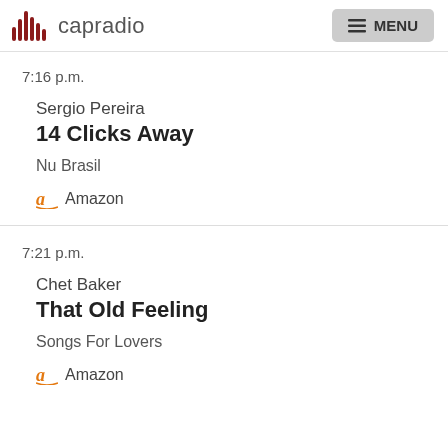capradio MENU
7:16 p.m.
Sergio Pereira
14 Clicks Away
Nu Brasil
Amazon
7:21 p.m.
Chet Baker
That Old Feeling
Songs For Lovers
Amazon